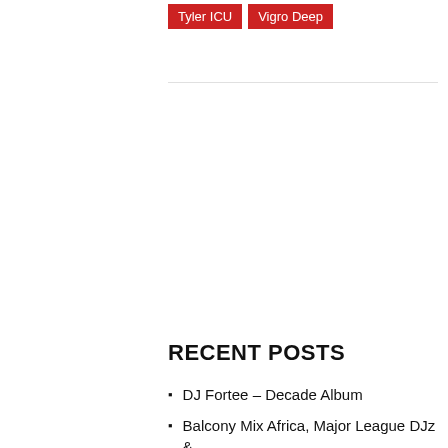Tyler ICU
Vigro Deep
RECENT POSTS
DJ Fortee – Decade Album
Balcony Mix Africa, Major League DJz & Nomfundo Moh – Ngamfumana ft.